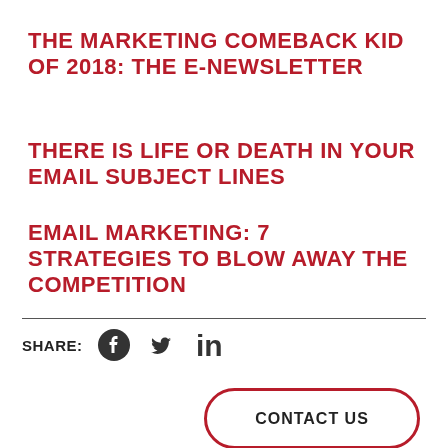THE MARKETING COMEBACK KID OF 2018: THE E-NEWSLETTER
THERE IS LIFE OR DEATH IN YOUR EMAIL SUBJECT LINES
EMAIL MARKETING: 7 STRATEGIES TO BLOW AWAY THE COMPETITION
SHARE:
[Figure (other): Social media share icons: Facebook, Twitter, LinkedIn]
CONTACT US